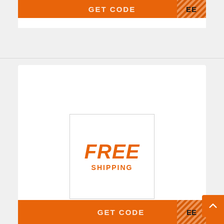[Figure (other): Orange GET CODE button with hatched/striped overlay on the right side, partially visible at top of page]
[Figure (illustration): FREE SHIPPING promotional badge: a white box with border containing bold italic orange text FREE and orange text SHIPPING below]
Buy 2, Secure 1 free storewide + zero-cost shipping
[Figure (other): Orange GET CODE button partially visible at bottom of page with hatched overlay on right]